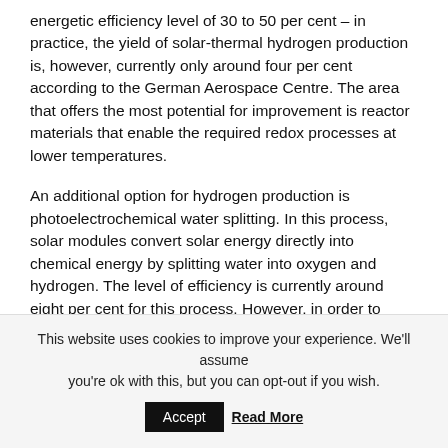energetic efficiency level of 30 to 50 per cent – in practice, the yield of solar-thermal hydrogen production is, however, currently only around four per cent according to the German Aerospace Centre. The area that offers the most potential for improvement is reactor materials that enable the required redox processes at lower temperatures.
An additional option for hydrogen production is photoelectrochemical water splitting. In this process, solar modules convert solar energy directly into chemical energy by splitting water into oxygen and hydrogen. The level of efficiency is currently around eight per cent for this process. However, in order to ensure profitable operation, costs need to be optimised further and the efficiency of solar hydrogen production needs to be improved even
This website uses cookies to improve your experience. We'll assume you're ok with this, but you can opt-out if you wish.